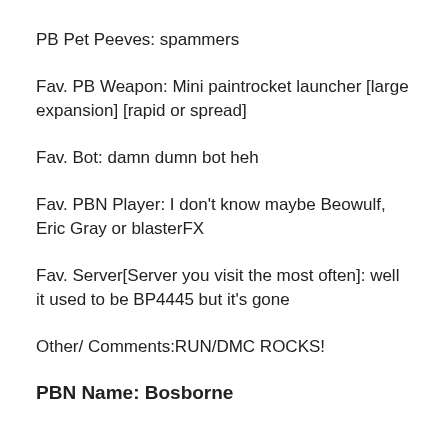PB Pet Peeves: spammers
Fav. PB Weapon: Mini paintrocket launcher [large expansion] [rapid or spread]
Fav. Bot: damn dumn bot heh
Fav. PBN Player: I don't know maybe Beowulf, Eric Gray or blasterFX
Fav. Server[Server you visit the most often]: well it used to be BP4445 but it's gone
Other/ Comments:RUN/DMC ROCKS!
PBN Name: Bosborne